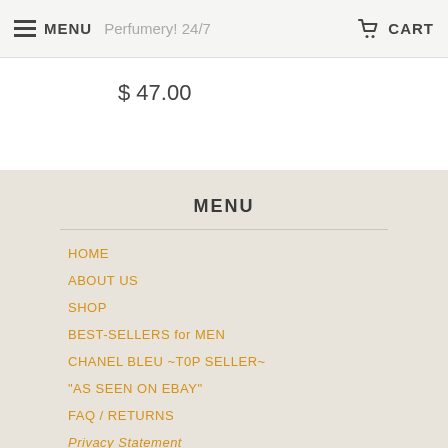MENU  Perfumery! 24/7   CART
$ 47.00
MENU
HOME
ABOUT US
SHOP
BEST-SELLERS for MEN
CHANEL BLEU ~T0P SELLER~
"AS SEEN ON EBAY"
FAQ / RETURNS
Privacy Statement
CONTACT US